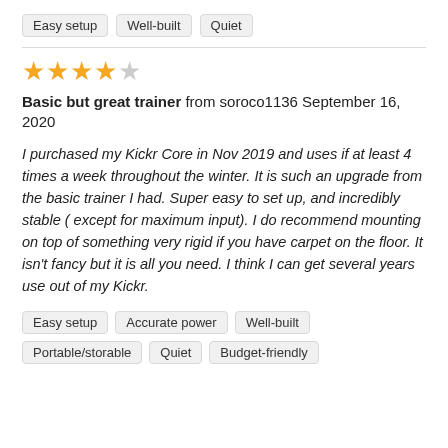Easy setup   Well-built   Quiet
[Figure (other): 4 out of 5 star rating shown as filled and empty stars]
Basic but great trainer from soroco1136 September 16, 2020
I purchased my Kickr Core in Nov 2019 and uses if at least 4 times a week throughout the winter. It is such an upgrade from the basic trainer I had. Super easy to set up, and incredibly stable ( except for maximum input). I do recommend mounting on top of something very rigid if you have carpet on the floor. It isn't fancy but it is all you need. I think I can get several years use out of my Kickr.
Easy setup   Accurate power   Well-built   Portable/storable   Quiet   Budget-friendly